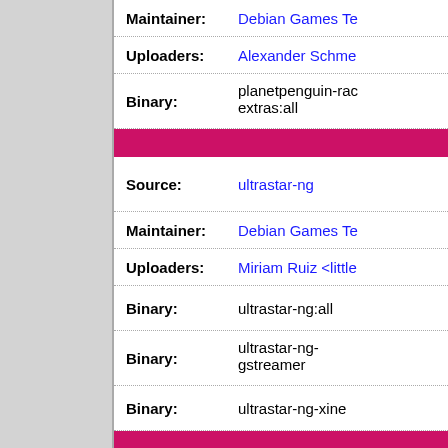| Field | Value |
| --- | --- |
| Maintainer: | Debian Games Te… |
| Uploaders: | Alexander Schme… |
| Binary: | planetpenguin-rac… extras:all |
| Source: | ultrastar-ng |
| Maintainer: | Debian Games Te… |
| Uploaders: | Miriam Ruiz <little… |
| Binary: | ultrastar-ng:all |
| Binary: | ultrastar-ng-gstreamer |
| Binary: | ultrastar-ng-xine |
| Source: | val-and-rick |
| Maintainer: | Debian Games Te… |